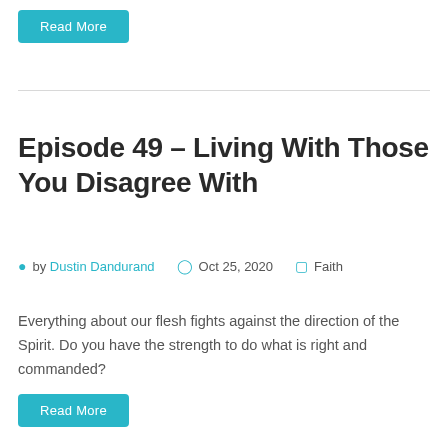Read More
Episode 49 – Living With Those You Disagree With
by Dustin Dandurand   Oct 25, 2020   Faith
Everything about our flesh fights against the direction of the Spirit. Do you have the strength to do what is right and commanded?
Read More